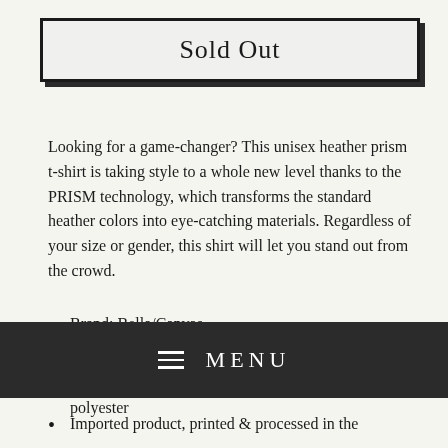Sold Out
Looking for a game-changer? This unisex heather prism t-shirt is taking style to a whole new level thanks to the PRISM technology, which transforms the standard heather colors into eye-catching materials. Regardless of your size or gender, this shirt will let you stand out from the crowd.
Brand: Bella/Canvas
Fabric weight: 4.2 oz (lightweight)
Material: 99% airlum combed cotton/1% polyester
Hedera... (partial, cut off)
MENU
Imported product, printed & processed in the